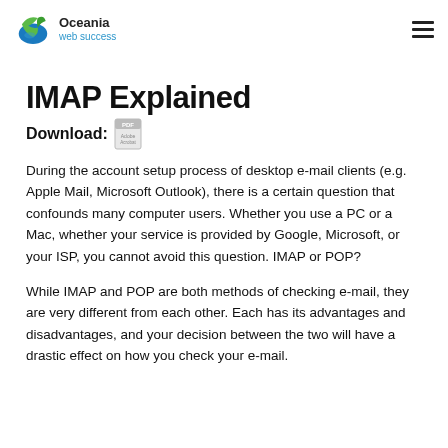Oceania web success
IMAP Explained
Download: [PDF icon]
During the account setup process of desktop e-mail clients (e.g. Apple Mail, Microsoft Outlook), there is a certain question that confounds many computer users. Whether you use a PC or a Mac, whether your service is provided by Google, Microsoft, or your ISP, you cannot avoid this question. IMAP or POP?
While IMAP and POP are both methods of checking e-mail, they are very different from each other. Each has its advantages and disadvantages, and your decision between the two will have a drastic effect on how you check your e-mail.